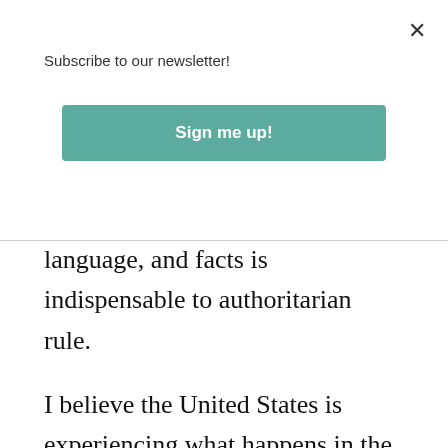Subscribe to our newsletter!
Sign me up!
language, and facts is indispensable to authoritarian rule.
I believe the United States is experiencing what happens in the initial stages of communism, including: centralizing power in technocrats at the national level; expanding State power at the expense of individual rights; weakening nuclear families, with a focus on transferring decisions about children to the State; increasing violence and